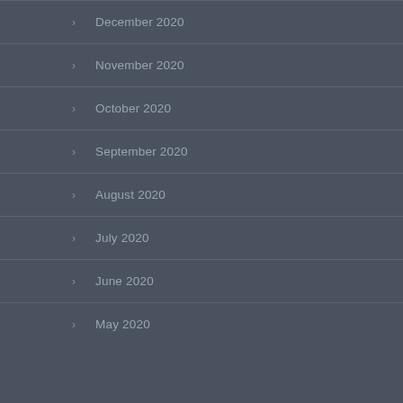December 2020
November 2020
October 2020
September 2020
August 2020
July 2020
June 2020
May 2020